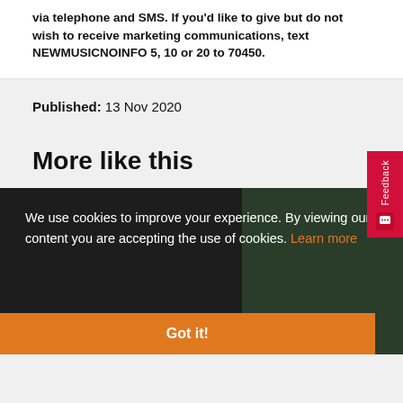via telephone and SMS. If you'd like to give but do not wish to receive marketing communications, text NEWMUSICNOINFO 5, 10 or 20 to 70450.
Published: 13 Nov 2020
More like this
We use cookies to improve your experience. By viewing our content you are accepting the use of cookies. Learn more
Got it!